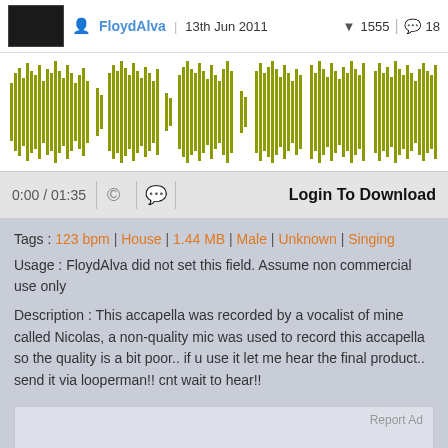[Figure (screenshot): Audio player interface showing thumbnail, username FloydAlva, date 13th Jun 2011, download count 1555, comments 18]
[Figure (other): Green audio waveform visualization on white background]
[Figure (screenshot): Audio player controls showing time 0:00 / 01:35, copyright icon, comment icon, and Login To Download button]
Tags : 123 bpm | House | 1.44 MB | Male | Unknown | Singing
Usage : FloydAlva did not set this field. Assume non commercial use only
Description : This accapella was recorded by a vocalist of mine called Nicolas, a non-quality mic was used to record this accapella so the quality is a bit poor.. if u use it let me hear the final product.. send it via looperman!! cnt wait to hear!!
[Figure (other): Advertisement placeholder box with Report Ad link]